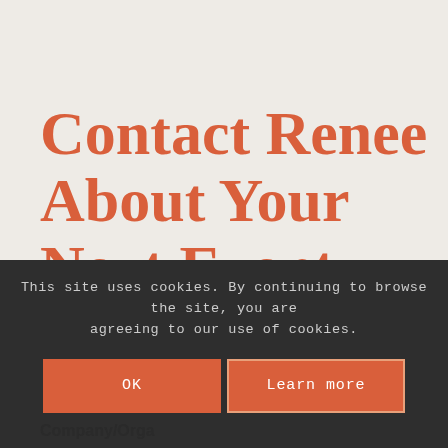Contact Renee About Your Next Event
Full Name *
This site uses cookies. By continuing to browse the site, you are agreeing to our use of cookies.
OK
Learn more
Company/Orga...